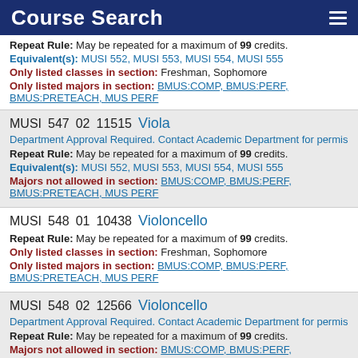Course Search
Repeat Rule: May be repeated for a maximum of 99 credits.
Equivalent(s): MUSI 552, MUSI 553, MUSI 554, MUSI 555
Only listed classes in section: Freshman, Sophomore
Only listed majors in section: BMUS:COMP, BMUS:PERF, BMUS:PRETEACH, MUS PERF
MUSI 547 02 11515 Viola
Department Approval Required. Contact Academic Department for permission then r
Repeat Rule: May be repeated for a maximum of 99 credits.
Equivalent(s): MUSI 552, MUSI 553, MUSI 554, MUSI 555
Majors not allowed in section: BMUS:COMP, BMUS:PERF, BMUS:PRETEACH, MUS PERF
MUSI 548 01 10438 Violoncello
Repeat Rule: May be repeated for a maximum of 99 credits.
Only listed classes in section: Freshman, Sophomore
Only listed majors in section: BMUS:COMP, BMUS:PERF, BMUS:PRETEACH, MUS PERF
MUSI 548 02 12566 Violoncello
Department Approval Required. Contact Academic Department for permission then r
Repeat Rule: May be repeated for a maximum of 99 credits.
Majors not allowed in section: BMUS:COMP, BMUS:PERF, BMUS:PRETEACH, MUS PERF
MUSI 549 01 10437 String Bass
Repeat Rule: May be repeated for a maximum of 99 credits.